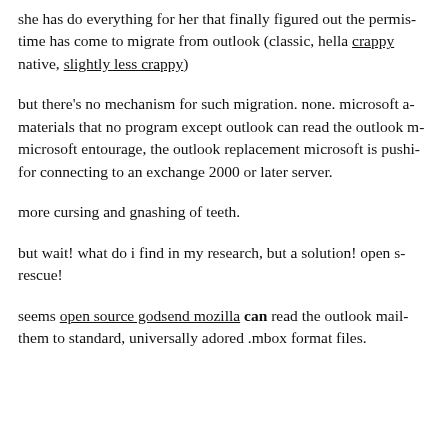she has do everything for her that finally figured out the permis- time has come to migrate from outlook (classic, hella crappy) native, slightly less crappy)
but there's no mechanism for such migration. none. microsoft a- materials that no program except outlook can read the outlook m- microsoft entourage, the outlook replacement microsoft is pushi- for connecting to an exchange 2000 or later server.
more cursing and gnashing of teeth.
but wait! what do i find in my research, but a solution! open s- rescue!
seems open source godsend mozilla can read the outlook mail- them to standard, universally adored .mbox format files.